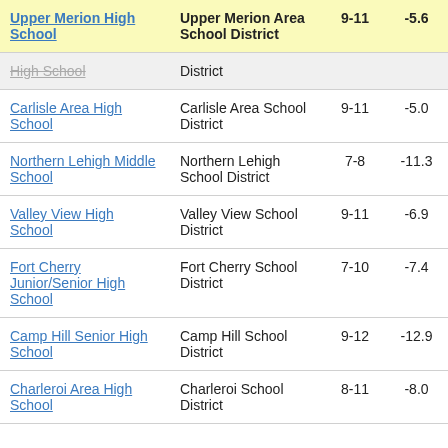| School | District | Grades | Value |
| --- | --- | --- | --- |
| Upper Merion High School | Upper Merion Area School District | 9-11 | -5.6 |
| High School (partial/strikethrough) | District |  |  |
| Carlisle Area High School | Carlisle Area School District | 9-11 | -5.0 |
| Northern Lehigh Middle School | Northern Lehigh School District | 7-8 | -11.3 |
| Valley View High School | Valley View School District | 9-11 | -6.9 |
| Fort Cherry Junior/Senior High School | Fort Cherry School District | 7-10 | -7.4 |
| Camp Hill Senior High School | Camp Hill School District | 9-12 | -12.9 |
| Charleroi Area High School | Charleroi School District | 8-11 | -8.0 |